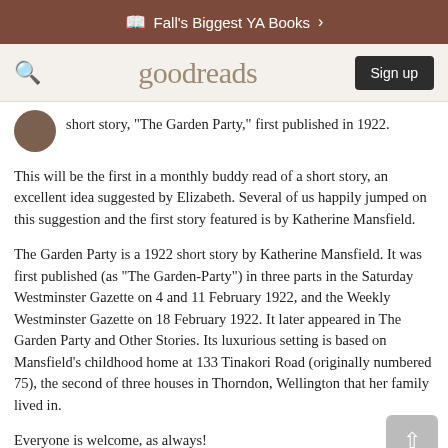Fall's Biggest YA Books >
[Figure (screenshot): Goodreads navigation bar with search icon, goodreads logo, and Sign up button]
short story, "The Garden Party," first published in 1922.
This will be the first in a monthly buddy read of a short story, an excellent idea suggested by Elizabeth. Several of us happily jumped on this suggestion and the first story featured is by Katherine Mansfield.
The Garden Party is a 1922 short story by Katherine Mansfield. It was first published (as "The Garden-Party") in three parts in the Saturday Westminster Gazette on 4 and 11 February 1922, and the Weekly Westminster Gazette on 18 February 1922. It later appeared in The Garden Party and Other Stories. Its luxurious setting is based on Mansfield's childhood home at 133 Tinakori Road (originally numbered 75), the second of three houses in Thorndon, Wellington that her family lived in.
Everyone is welcome, as always!